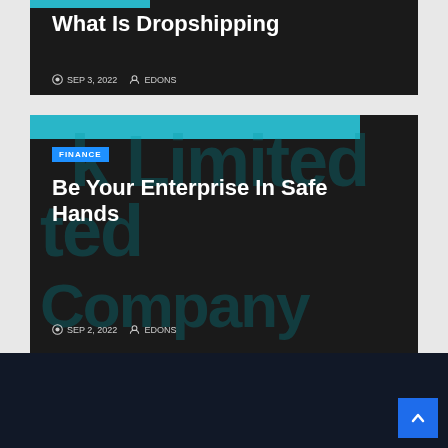[Figure (screenshot): Blog card with dark background showing 'What Is Dropshipping' article. Has a teal category bar at top, white bold title, and metadata showing SEP 3, 2022 and author EDONS.]
What Is Dropshipping
SEP 3, 2022   EDONS
[Figure (screenshot): Blog card with dark background showing 'Be Your Enterprise In Safe Hands' article. Has teal header bar, partial text watermark showing 'k Limited Company', FINANCE badge in blue, white bold title, and metadata showing SEP 2, 2022 and author EDONS.]
FINANCE
Be Your Enterprise In Safe Hands
SEP 2, 2022   EDONS